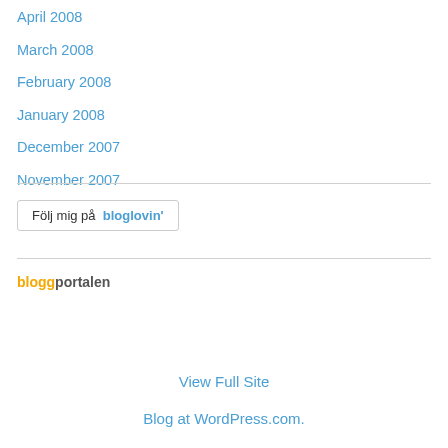April 2008
March 2008
February 2008
January 2008
December 2007
November 2007
October 2007
[Figure (logo): Följ mig på bloglovin' button]
[Figure (logo): bloggportalen logo]
View Full Site
Blog at WordPress.com.